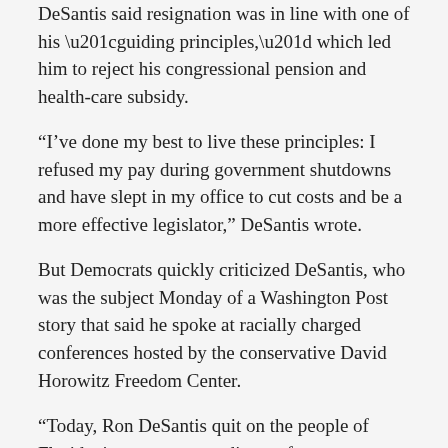DeSantis said resignation was in line with one of his “guiding principles,” which led him to reject his congressional pension and health-care subsidy.
“I’ve done my best to live these principles: I refused my pay during government shutdowns and have slept in my office to cut costs and be a more effective legislator,” DeSantis wrote.
But Democrats quickly criticized DeSantis, who was the subject Monday of a Washington Post story that said he spoke at racially charged conferences hosted by the conservative David Horowitz Freedom Center.
“Today, Ron DeSantis quit on the people of Florida, in an attempt to distract from a firestorm of controversy over his attendance at extremist conferences,” Florida Democratic Party Chairwoman Terrie Rizzo said in a statement. “Ron DeSantis can abandon his post, but he can’t avoid questions about why he chose to associate himself with hateful, fringe organizations.”